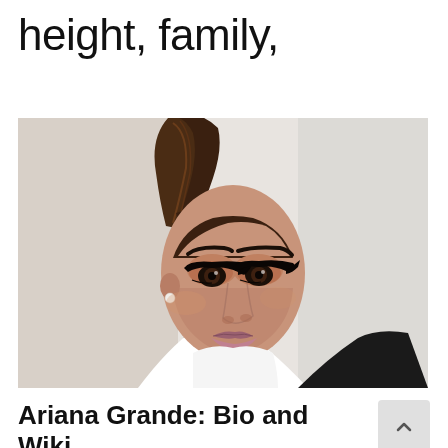height, family,
[Figure (photo): Portrait photo of Ariana Grande with a high ponytail, dramatic eye makeup with cat-eye liner, pearl stud earring, and a white top against a white/light grey background.]
Ariana Grande: Bio and Wiki